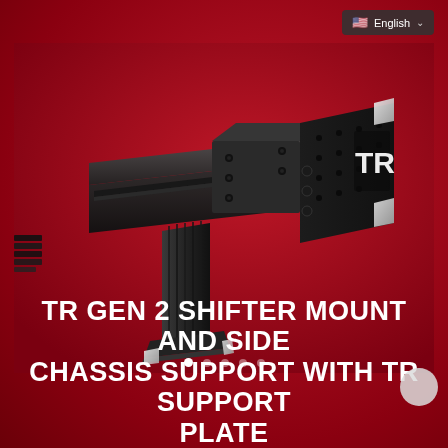English
[Figure (photo): 3D product photo of TR Gen 2 Shifter Mount and Side Chassis Support with TR Support Plate — a black aluminum extruded rail-based mounting bracket assembly with adjustable plate and TR-branded end panel, shown on a red background]
TR GEN 2 SHIFTER MOUNT AND SIDE CHASSIS SUPPORT WITH TR SUPPORT PLATE